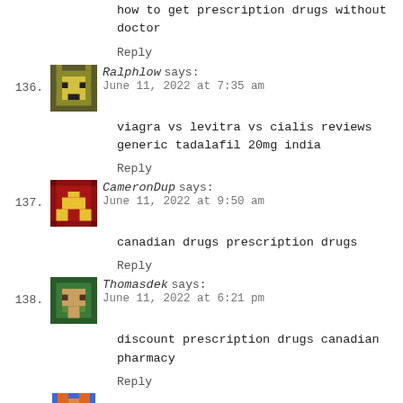how to get prescription drugs without doctor
Reply
136. Ralphlow says: June 11, 2022 at 7:35 am
viagra vs levitra vs cialis reviews generic tadalafil 20mg india
Reply
137. CameronDup says: June 11, 2022 at 9:50 am
canadian drugs prescription drugs
Reply
138. Thomasdek says: June 11, 2022 at 6:21 pm
discount prescription drugs canadian pharmacy
Reply